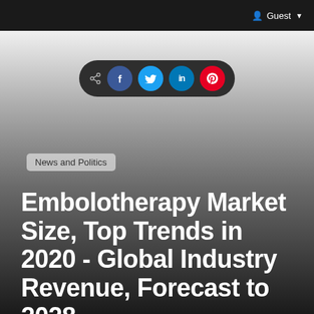Guest
[Figure (infographic): Social share bar with share icon, Facebook, Twitter, LinkedIn, and Pinterest buttons on a dark rounded pill background]
News and Politics
Embolotherapy Market Size, Top Trends in 2020 - Global Industry Revenue, Forecast to 2028